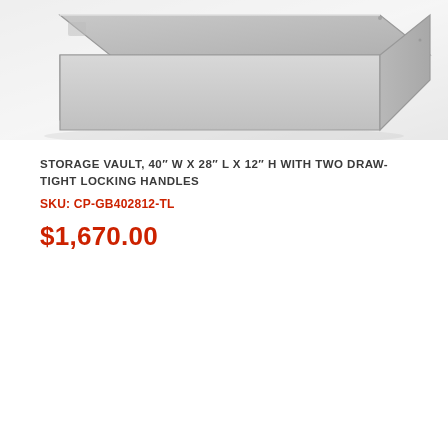[Figure (photo): Product photo of a metal storage vault box shown from a 3/4 angle perspective, light gray metallic color with visible edges and corner details, on a white/light gray background.]
STORAGE VAULT, 40" W X 28" L X 12" H WITH TWO DRAW-TIGHT LOCKING HANDLES
SKU: CP-GB402812-TL
$1,670.00